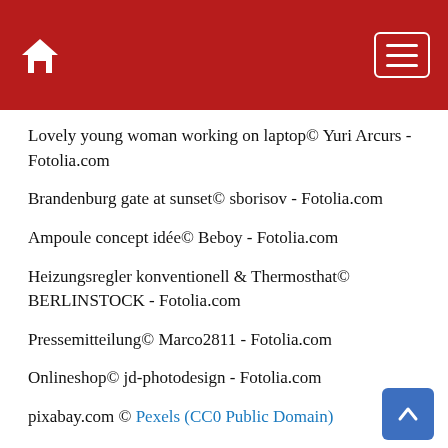Home / Menu
Lovely young woman working on laptop© Yuri Arcurs - Fotolia.com
Brandenburg gate at sunset© sborisov - Fotolia.com
Ampoule concept idée© Beboy - Fotolia.com
Heizungsregler konventionell & Thermosthat© BERLINSTOCK - Fotolia.com
Pressemitteilung© Marco2811 - Fotolia.com
Onlineshop© jd-photodesign - Fotolia.com
pixabay.com © Pexels (CC0 Public Domain)
Bank office© hacohob - Fotolia.com
zettl-brettl banner auf gehts aufd wiesn I© WoGi - Fotolia...
Happy Halloween message design background© Sarunyu_foto -